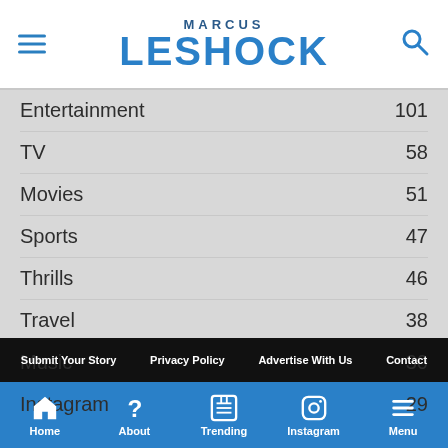Marcus Leshock
Entertainment 101
TV 58
Movies 51
Sports 47
Thrills 46
Travel 38
Music 30
Instagram 29
Submit Your Story | Privacy Policy | Advertise With Us | Contact
Home | About | Trending | Instagram | Menu